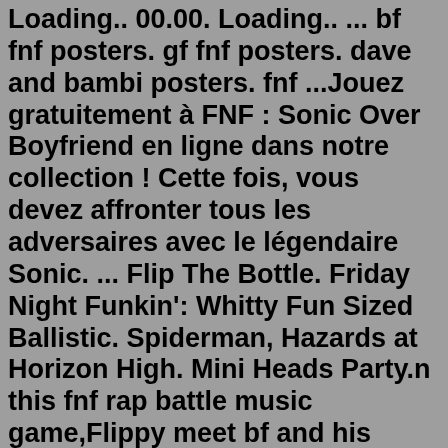Loading.. 00.00. Loading.. ... bf fnf posters. gf fnf posters. dave and bambi posters. fnf ...Jouez gratuitement à FNF : Sonic Over Boyfriend en ligne dans notre collection ! Cette fois, vous devez affronter tous les adversaires avec le légendaire Sonic. ... Flip The Bottle. Friday Night Funkin': Whitty Fun Sized Ballistic. Spiderman, Hazards at Horizon High. Mini Heads Party.n this fnf rap battle music game,Flippy meet bf and his girlfriend in forest..to play against him.Let's Join Funkin music battle with Flippy fnf mod game,where ④ Complete Google sign-in (if you skipped step 2) to install MF Flippy Mod Arrow Music Battle. ⑤ Once installation completes, click the game icon to...Boyfriend is a character created by the FNF Team, and given a fresh new look by Team Flipped! He is the main protagonist in the full mod. Appearance Boyfriend wears a red backwards cap with white highlights, all atop a curved cyan hairdo vaguely resembling his vanilla hair.Be the winner of the music battle and show your sense of rhythm vs. Flippy, the main character and charismatic singer in